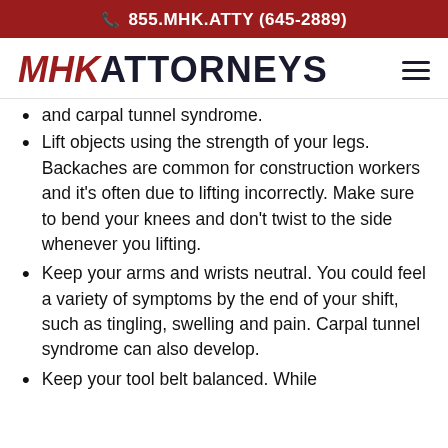855.MHK.ATTY (645-2889)
MHK ATTORNEYS
and carpal tunnel syndrome.
Lift objects using the strength of your legs. Backaches are common for construction workers and it's often due to lifting incorrectly. Make sure to bend your knees and don't twist to the side whenever you lifting.
Keep your arms and wrists neutral. You could feel a variety of symptoms by the end of your shift, such as tingling, swelling and pain. Carpal tunnel syndrome can also develop.
Keep your tool belt balanced. While